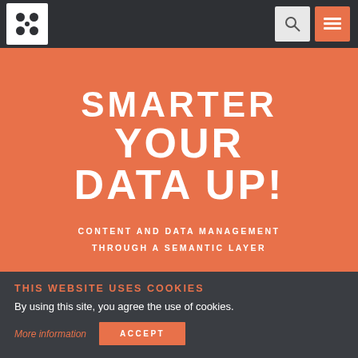Ximdes platform logo and navigation bar with search and menu icons
SMARTER YOUR DATA UP!
CONTENT AND DATA MANAGEMENT THROUGH A SEMANTIC LAYER
THIS WEBSITE USES COOKIES
By using this site, you agree the use of cookies.
More information
ACCEPT
XIMDEX PLATFORM